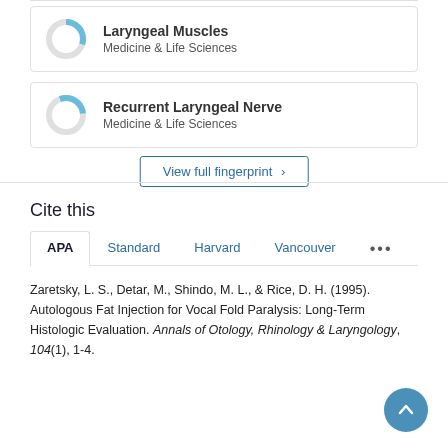[Figure (donut-chart): Donut chart showing partial fill in blue for Laryngeal Muscles topic]
Laryngeal Muscles
Medicine & Life Sciences
[Figure (donut-chart): Donut chart showing partial fill in blue for Recurrent Laryngeal Nerve topic]
Recurrent Laryngeal Nerve
Medicine & Life Sciences
View full fingerprint ›
Cite this
APA   Standard   Harvard   Vancouver   •••
Zaretsky, L. S., Detar, M., Shindo, M. L., & Rice, D. H. (1995). Autologous Fat Injection for Vocal Fold Paralysis: Long-Term Histologic Evaluation. Annals of Otology, Rhinology & Laryngology, 104(1), 1-4.